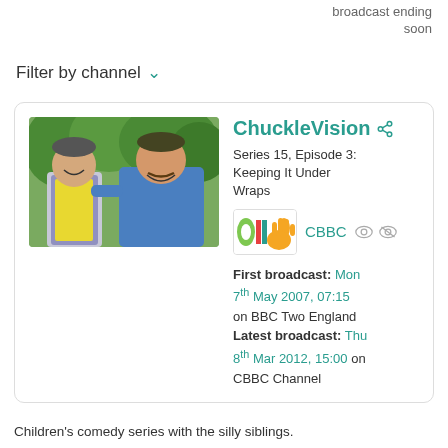broadcast ending soon
Filter by channel
[Figure (photo): Two men smiling outdoors, one wearing yellow vest and plaid shirt, other in blue jacket]
ChuckleVision
Series 15, Episode 3: Keeping It Under Wraps
[Figure (logo): CBBC channel logo - colourful logo with green, red and blue shapes]
CBBC
First broadcast: Mon 7th May 2007, 07:15 on BBC Two England Latest broadcast: Thu 8th Mar 2012, 15:00 on CBBC Channel
Children's comedy series with the silly siblings.